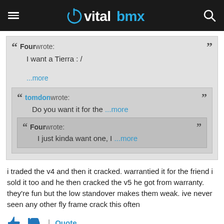vitalbmx
Four wrote: I want a Tierra : /  ...more
tomdon wrote: Do you want it for the ...more
Four wrote: I just kinda want one, I ...more
i traded the v4 and then it cracked. warrantied it for the friend i sold it too and he then cracked the v5 he got from warranty. they're fun but the low standover makes them weak. ive never seen any other fly frame crack this often
Quote